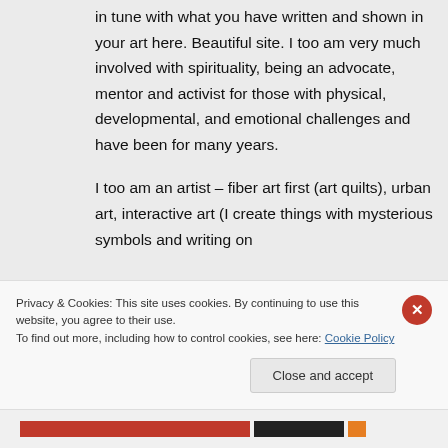in tune with what you have written and shown in your art here. Beautiful site. I too am very much involved with spirituality, being an advocate, mentor and activist for those with physical, developmental, and emotional challenges and have been for many years.

I too am an artist – fiber art first (art quilts), urban art, interactive art (I create things with mysterious symbols and writing on
Privacy & Cookies: This site uses cookies. By continuing to use this website, you agree to their use.
To find out more, including how to control cookies, see here: Cookie Policy
Close and accept